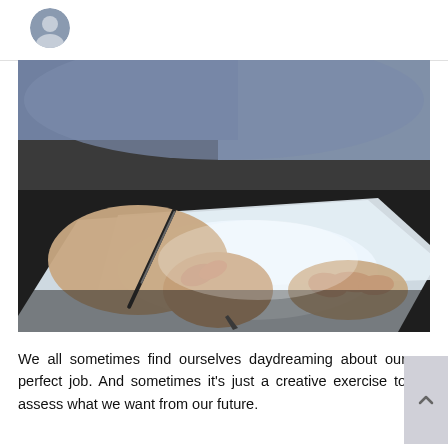[Figure (photo): Close-up photo of a person's hands writing on paper with a pen, resting on a dark desk surface. The person is wearing a light blue/grey shirt.]
We all sometimes find ourselves daydreaming about our perfect job. And sometimes it's just a creative exercise to assess what we want from our future.